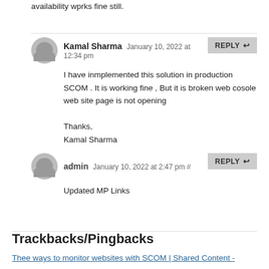availability wprks fine still.
Kamal Sharma January 10, 2022 at 12:34 pm
I have inmplemented this solution in production SCOM . It is working fine , But it is broken web cosole web site page is not opening

Thanks,
Kamal Sharma
admin January 10, 2022 at 2:47 pm #
Updated MP Links
Trackbacks/Pingbacks
Thee ways to monitor websites with SCOM | Shared Content -